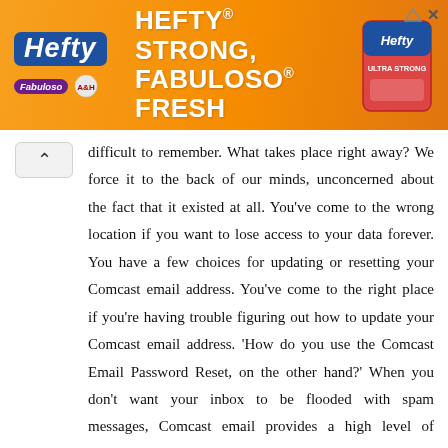[Figure (other): Hefty advertisement banner with orange background. Shows Hefty logo, Fabuloso and Arm & Hammer brand logos, and tagline 'HEFTY STRONG, FABULOSO FRESH' with product image on right. Has close/arrow icons in top right.]
difficult to remember. What takes place right away? We force it to the back of our minds, unconcerned about the fact that it existed at all. You've come to the wrong location if you want to lose access to your data forever. You have a few choices for updating or resetting your Comcast email address. You've come to the right place if you're having trouble figuring out how to update your Comcast email address. 'How do you use the Comcast Email Password Reset, on the other hand?' When you don't want your inbox to be flooded with spam messages, Comcast email provides a high level of security. Since emails contain confidential and personal information about the sender, they must be secure. We don't